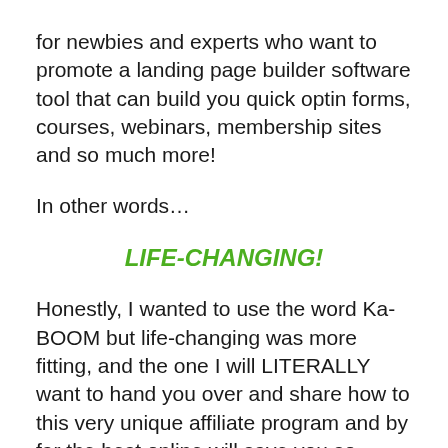for newbies and experts who want to promote a landing page builder software tool that can build you quick optin forms, courses, webinars, membership sites and so much more!
In other words…
LIFE-CHANGING!
Honestly, I wanted to use the word Ka-BOOM but life-changing was more fitting, and the one I will LITERALLY want to hand you over and share how to this very unique affiliate program and by far the best online will save you so much time, make your more